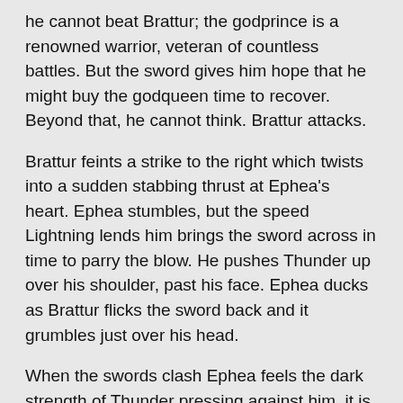he cannot beat Brattur; the godprince is a renowned warrior, veteran of countless battles. But the sword gives him hope that he might buy the godqueen time to recover. Beyond that, he cannot think. Brattur attacks.
Brattur feints a strike to the right which twists into a sudden stabbing thrust at Ephea's heart. Ephea stumbles, but the speed Lightning lends him brings the sword across in time to parry the blow. He pushes Thunder up over his shoulder, past his face. Ephea ducks as Brattur flicks the sword back and it grumbles just over his head.
When the swords clash Ephea feels the dark strength of Thunder pressing against him, it is like an invisible wave grabbing every particle of his body and shoving him back. But that feeling takes hold of something else within him; some strange recognition.
As they strike and parry, Ephea feels something swell inside him, a memory of strength and might, a memory of war, a memory of millennia. It is a complex of memories, but it has a single name. As the memories grow within him so he